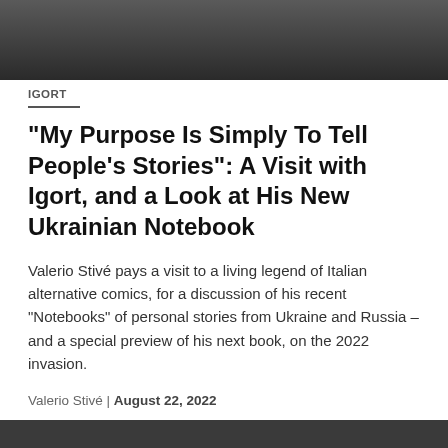[Figure (photo): Partial top photograph showing a person, cropped at the top of the page]
IGORT
“My Purpose Is Simply To Tell People’s Stories”: A Visit with Igort, and a Look at His New Ukrainian Notebook
Valerio Stivé pays a visit to a living legend of Italian alternative comics, for a discussion of his recent “Notebooks” of personal stories from Ukraine and Russia – and a special preview of his next book, on the 2022 invasion.
Valerio Stivé | August 22, 2022
[Figure (photo): Partial bottom photograph, cropped at the bottom of the page]